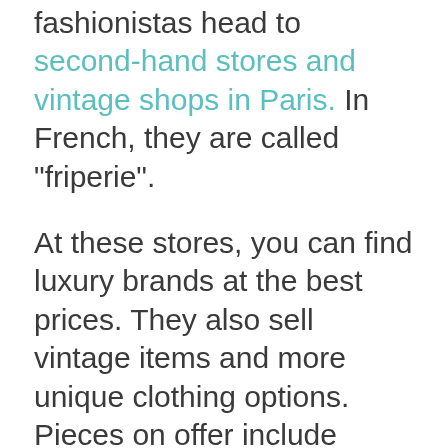fashionistas head to second-hand stores and vintage shops in Paris. In French, they are called "friperie".
At these stores, you can find luxury brands at the best prices. They also sell vintage items and more unique clothing options. Pieces on offer include everything from vintage Chanel and Balenciaga to dresses resembling those seen in 80s movies.
Even if you have prejudices about second-hand shops, be sure to visit at least one: you will forever change your mind. One of the best vintage shops in Paris is the Kilo shop. Its concept is simple: choose, weigh,